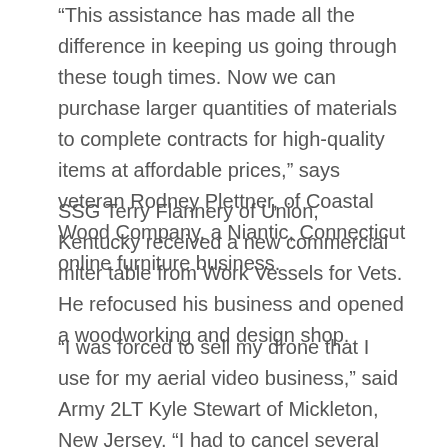“This assistance has made all the difference in keeping us going through these tough times. Now we can purchase larger quantities of materials to complete contracts for high-quality items at affordable prices,” says veteran Rodney Plettner, of Coastal Wood Company, a Niantic, Connecticut online furniture business.
SSG Terry Flannery of Union, Kentucky received a new commercial miter table from Work Vessels for Vets. He refocused his business and opened a woodworking and design shop.
“I was forced to sell my drone that I use for my aerial video business,” said Army 2LT Kyle Stewart of Mickleton, New Jersey. “I had to cancel several contracts and missed out on new opportunities. This grant means I can purchase the